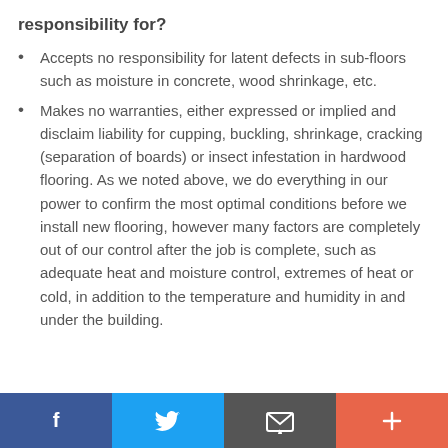responsibility for?
Accepts no responsibility for latent defects in sub-floors such as moisture in concrete, wood shrinkage, etc.
Makes no warranties, either expressed or implied and disclaim liability for cupping, buckling, shrinkage, cracking (separation of boards) or insect infestation in hardwood flooring. As we noted above, we do everything in our power to confirm the most optimal conditions before we install new flooring, however many factors are completely out of our control after the job is complete, such as adequate heat and moisture control, extremes of heat or cold, in addition to the temperature and humidity in and under the building.